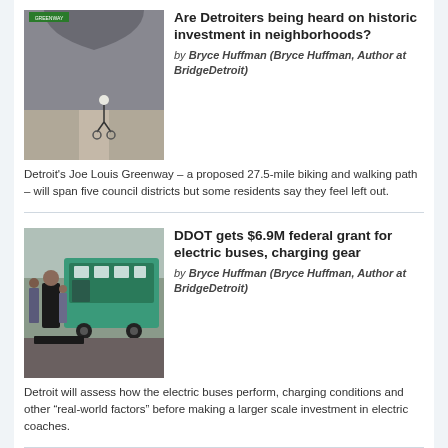[Figure (photo): Person on bicycle passing through an underpass tunnel on a path]
Are Detroiters being heard on historic investment in neighborhoods?
by Bryce Huffman (Bryce Huffman, Author at BridgeDetroit)
Detroit's Joe Louis Greenway – a proposed 27.5-mile biking and walking path – will span five council districts but some residents say they feel left out.
[Figure (photo): Man in suit standing in front of a row of green electric buses with other people in background]
DDOT gets $6.9M federal grant for electric buses, charging gear
by Bryce Huffman (Bryce Huffman, Author at BridgeDetroit)
Detroit will assess how the electric buses perform, charging conditions and other “real-world factors” before making a larger scale investment in electric coaches.
[Figure (photo): Partial view of outdoor scene, appears to be a neighborhood or park]
Detroiters spent $49M on